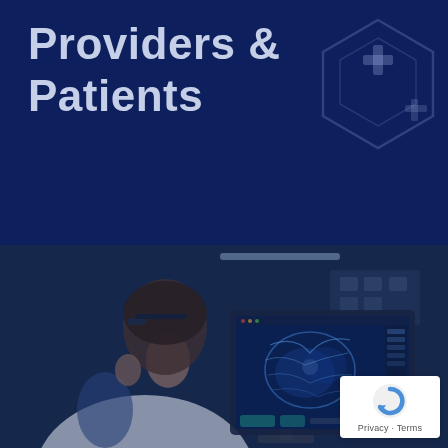Providers & Patients
[Figure (photo): A medical professional in a white lab coat viewed from behind, wearing AR/VR glasses, looking at a computer monitor displaying medical imaging data with blue-toned network/scan imagery. The scene is set in a medical lab with blue ambient lighting.]
[Figure (logo): reCAPTCHA badge with circular arrow logo icon and text 'Privacy · Terms']